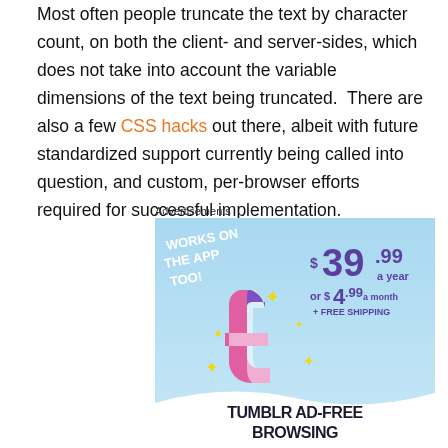Most often people truncate the text by character count, on both the client- and server-sides, which does not take into account the variable dimensions of the text being truncated. There are also a few CSS hacks out there, albeit with future standardized support currently being called into question, and custom, per-browser efforts required for successful implementation.
Advertisements
[Figure (illustration): Tumblr Ad-Free Browsing advertisement banner. Blue sky background with Tumblr logo. Text: WORKS ON THE APP TOO! $39.99 a year or $4.99 a month + FREE SHIPPING. TUMBLR AD-FREE BROWSING.]